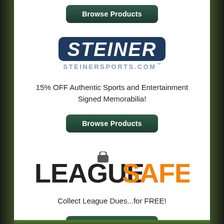[Figure (logo): Browse Products button at top]
[Figure (logo): Steiner Sports logo: dark blue rounded rectangle with italic STEINER text and STEINERSPORTS.COM below]
15% OFF Authentic Sports and Entertainment Signed Memorabilia!
[Figure (other): Browse Products green button]
[Figure (logo): LeagueSafe logo: LEAGUE in black bold, SAFE in orange bold, with padlock icon above the U]
Collect League Dues...for FREE!
[Figure (other): Browse Products green button]